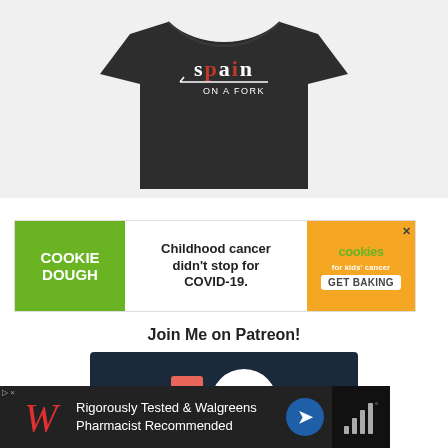[Figure (photo): Dark gray t-shirt with 'spain ON A FORK' logo printed on the front, displayed on a light gray background]
[Figure (infographic): Advertisement banner: Green left panel with 'COOKIE DOUGH' text, white center with 'Childhood cancer didn't stop for COVID-19.', orange right panel with 'cookies for kids cancer GET BAKING' and an X close button]
Join Me on Patreon!
[Figure (photo): Patreon promotional image on dark navy background with a red rectangle and white circle icon]
[Figure (infographic): Bottom advertisement banner on black background: Walgreens logo (cursive W), text 'Rigorously Tested & Walgreens Pharmacist Recommended', blue diamond navigation arrow icon]